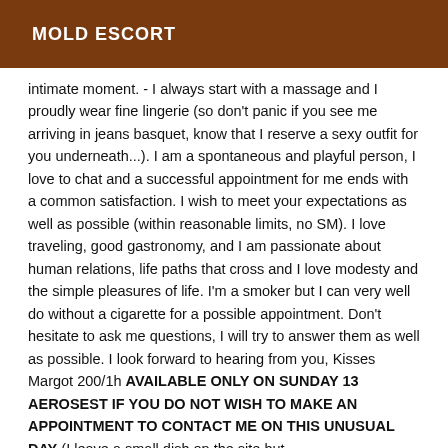MOLD ESCORT
intimate moment. - I always start with a massage and I proudly wear fine lingerie (so don't panic if you see me arriving in jeans basquet, know that I reserve a sexy outfit for you underneath...). I am a spontaneous and playful person, I love to chat and a successful appointment for me ends with a common satisfaction. I wish to meet your expectations as well as possible (within reasonable limits, no SM). I love traveling, good gastronomy, and I am passionate about human relations, life paths that cross and I love modesty and the simple pleasures of life. I'm a smoker but I can very well do without a cigarette for a possible appointment. Don't hesitate to ask me questions, I will try to answer them as well as possible. I look forward to hearing from you, Kisses Margot 200/1h AVAILABLE ONLY ON SUNDAY 13 AEROSEST IF YOU DO NOT WISH TO MAKE AN APPOINTMENT TO CONTACT ME ON THIS UNUSUAL DAY (I leave a small dish on the site but...